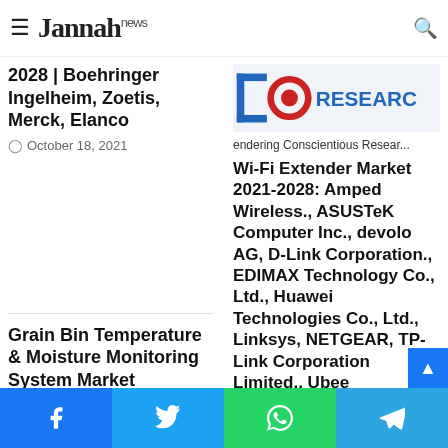Jannah news
2028 | Boehringer Ingelheim, Zoetis, Merck, Elanco
October 18, 2021
[Figure (logo): Orb Research logo with text 'RESEARCH' and tagline 'endering Conscientious Research']
Wi-Fi Extender Market 2021-2028: Amped Wireless., ASUSTeK Computer Inc., devolo AG, D-Link Corporation., EDIMAX Technology Co., Ltd., Huawei Technologies Co., Ltd., Linksys, NETGEAR, TP-Link Corporation Limited., Ubee Interactive.,
October 27, 2021
Grain Bin Temperature & Moisture Monitoring System Market Impressive
[Figure (logo): Orb Research logo - circular icon with 'Orb' text]